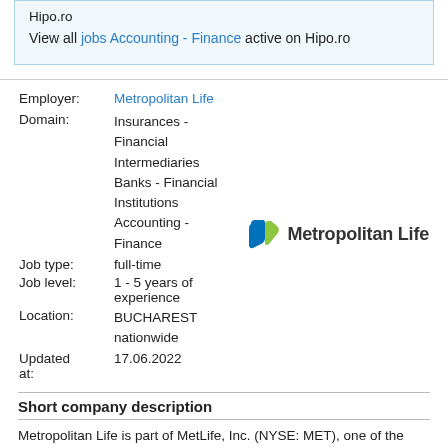Hipo.ro
View all jobs Accounting - Finance active on Hipo.ro
| Field | Value |
| --- | --- |
| Employer: | Metropolitan Life |
| Domain: | Insurances - Financial Intermediaries
Banks - Financial Institutions
Accounting - Finance |
| Job type: | full-time |
| Job level: | 1 - 5 years of experience |
| Location: | BUCHAREST
nationwide |
| Updated at: | 17.06.2022 |
[Figure (logo): Metropolitan Life logo with blue and green leaf icon and bold text Metropolitan Life]
Short company description
Metropolitan Life is part of MetLife, Inc. (NYSE: MET), one of the world's leading financial services companies, providing insurance, annuities, employee benefits, and asset management to help their individual and institutional clients confidently step into the future. Founded in 1868, MetLife is...